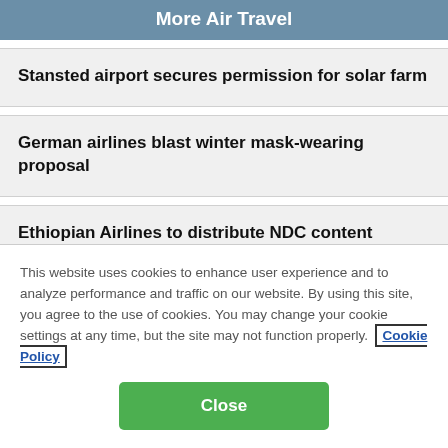More Air Travel
Stansted airport secures permission for solar farm
German airlines blast winter mask-wearing proposal
Ethiopian Airlines to distribute NDC content through Travelport Plus
This website uses cookies to enhance user experience and to analyze performance and traffic on our website. By using this site, you agree to the use of cookies. You may change your cookie settings at any time, but the site may not function properly. Cookie Policy
Close